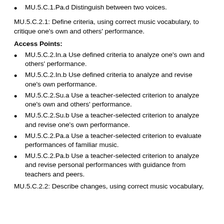MU.5.C.1.Pa.d Distinguish between two voices.
MU.5.C.2.1: Define criteria, using correct music vocabulary, to critique one's own and others' performance.
Access Points:
MU.5.C.2.In.a Use defined criteria to analyze one's own and others' performance.
MU.5.C.2.In.b Use defined criteria to analyze and revise one's own performance.
MU.5.C.2.Su.a Use a teacher-selected criterion to analyze one's own and others' performance.
MU.5.C.2.Su.b Use a teacher-selected criterion to analyze and revise one's own performance.
MU.5.C.2.Pa.a Use a teacher-selected criterion to evaluate performances of familiar music.
MU.5.C.2.Pa.b Use a teacher-selected criterion to analyze and revise personal performances with guidance from teachers and peers.
MU.5.C.2.2: Describe changes, using correct music vocabulary,